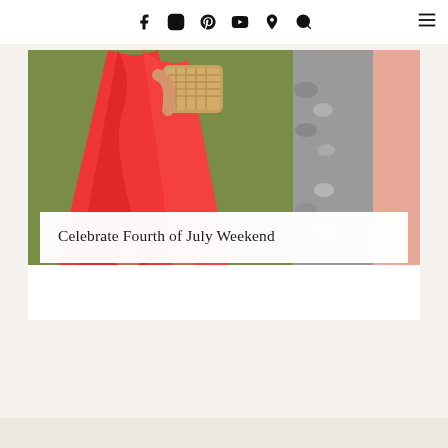Social media navigation icons: Facebook, Instagram, Pinterest, YouTube, location pin, search, menu
[Figure (photo): Person wearing a flowing red/coral dress outdoors on grass, holding a woven straw bag, with gray stones and a pink wall visible on the right side of the image]
Celebrate Fourth of July Weekend